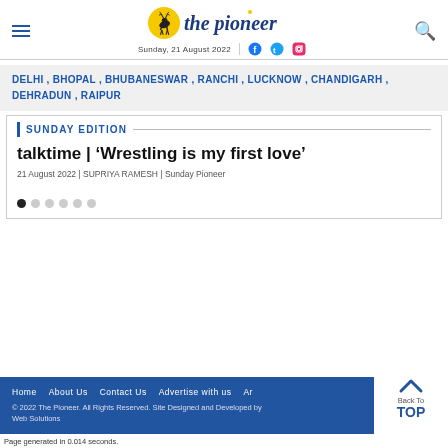the pioneer — Sunday, 21 August 2022
DELHI , BHOPAL , BHUBANESWAR , RANCHI , LUCKNOW , CHANDIGARH , DEHRADUN , RAIPUR
SUNDAY EDITION
talktime | 'Wrestling is my first love'
21 August 2022 | SUPRIYA RAMESH | Sunday Pioneer
Home   About Us   Contact Us   Advertise with us   Ar... © 2022 The Pioneer. All Rights Reserved. Site Designed and Developed by Web Solutions
Page generated in 0.014 seconds.